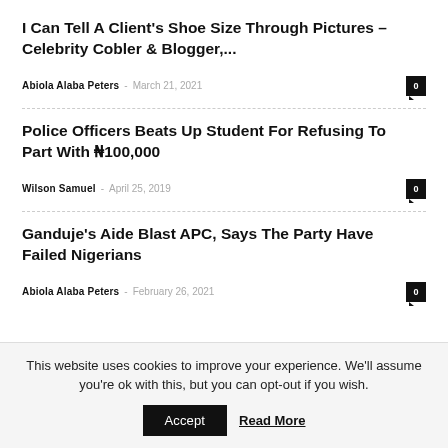I Can Tell A Client's Shoe Size Through Pictures – Celebrity Cobler & Blogger,...
Abiola Alaba Peters – March 21, 2021   0
Police Officers Beats Up Student For Refusing To Part With N100,000
Wilson Samuel – April 25, 2019   0
Ganduje's Aide Blast APC, Says The Party Have Failed Nigerians
Abiola Alaba Peters – February 26, 2021   0
This website uses cookies to improve your experience. We'll assume you're ok with this, but you can opt-out if you wish.
Accept   Read More